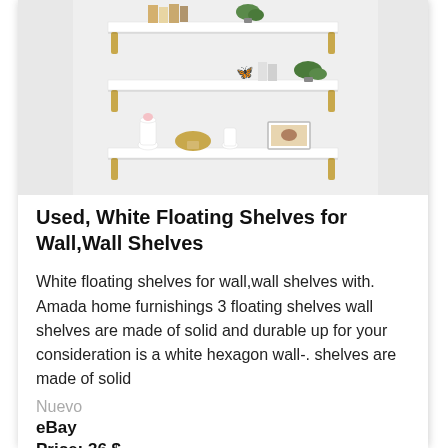[Figure (photo): Three white floating wall shelves with gold metal brackets, styled with books, plants, decorative vases, a golden mushroom ornament, and a small framed photo on a light grey background.]
Used, White Floating Shelves for Wall,Wall Shelves
White floating shelves for wall,wall shelves with. Amada home furnishings 3 floating shelves wall shelves are made of solid and durable up for your consideration is a white hexagon wall-. shelves are made of solid
Nuevo
eBay
Price: 36 $
Product condition: Used